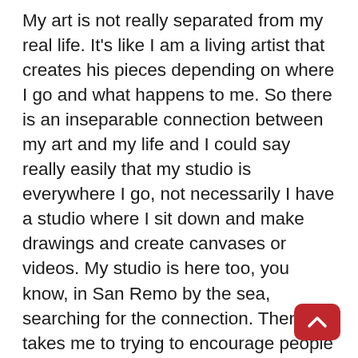My art is not really separated from my real life. It's like I am a living artist that creates his pieces depending on where I go and what happens to me. So there is an inseparable connection between my art and my life and I could say really easily that my studio is everywhere I go, not necessarily I have a studio where I sit down and make drawings and create canvases or videos. My studio is here too, you know, in San Remo by the sea, searching for the connection. Then it takes me to trying to encourage people not to do exactly what I do, because I'm one of those few fortunate that can do it, but to search through their roots, because we can always find really important things, maybe only important things for us: memories and connections with our families